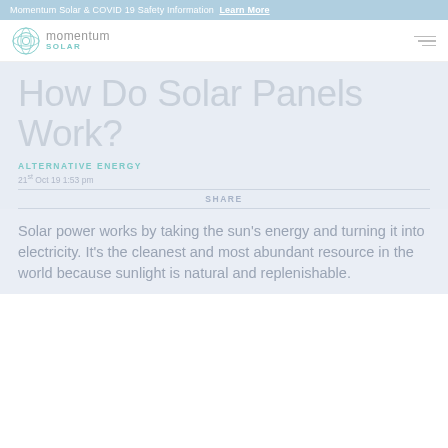Momentum Solar & COVID 19 Safety Information Learn More
[Figure (logo): Momentum Solar logo with circular geometric icon and text 'momentum SOLAR']
How Do Solar Panels Work?
ALTERNATIVE ENERGY
21st Oct 19 1:53 pm
SHARE
Solar power works by taking the sun's energy and turning it into electricity. It's the cleanest and most abundant resource in the world because sunlight is natural and replenishable.